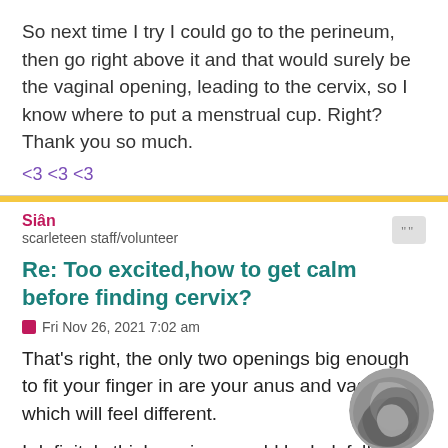So next time I try I could go to the perineum, then go right above it and that would surely be the vaginal opening, leading to the cervix, so I know where to put a menstrual cup. Right?
Thank you so much.
<3 <3 <3
Siân
scarleteen staff/volunteer
Re: Too excited,how to get calm before finding cervix?
Fri Nov 26, 2021 7:02 am
That's right, the only two openings big enough to fit your finger in are your anus and vagina, which will feel different.
[Figure (illustration): Circular avatar/logo with swirling gray and dark gray wave pattern on gray background]
I definitely think a mirror would be helpful! You might find